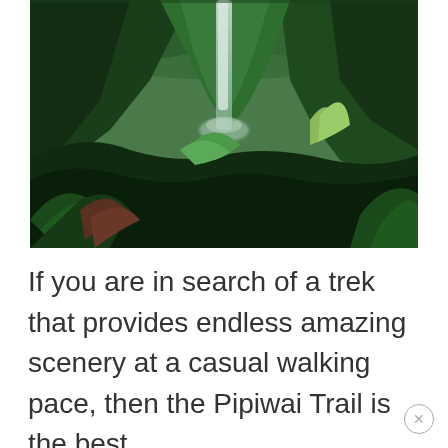[Figure (photo): Aerial view of a lush green tropical jungle with a tall waterfall cascading down a cliff into dense vegetation. Rich dark greens dominate the scene with mist around the waterfall.]
If you are in search of a trek that provides endless amazing scenery at a casual walking pace, then the Pipiwai Trail is the best hike for you. The trail ascends